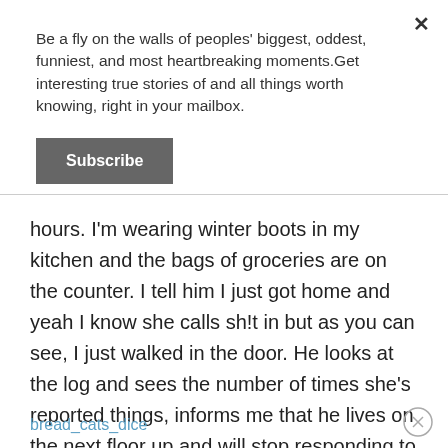Be a fly on the walls of peoples' biggest, oddest, funniest, and most heartbreaking moments.Get interesting true stories of and all things worth knowing, right in your mailbox.
Subscribe
hours. I'm wearing winter boots in my kitchen and the bags of groceries are on the counter. I tell him I just got home and yeah I know she calls sh!t in but as you can see, I just walked in the door. He looks at the log and sees the number of times she's reported things, informs me that he lives on the next floor up and will stop responding to these calls.
bread_cats_dice